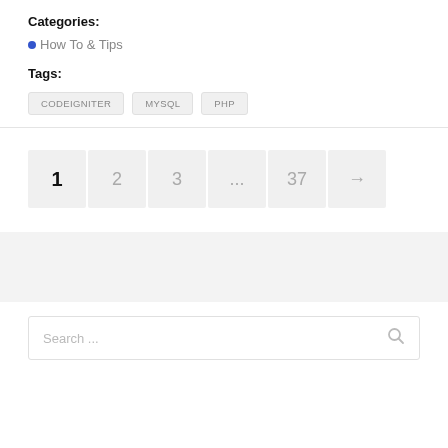Categories:
How To & Tips
Tags:
CODEIGNITER   MYSQL   PHP
[Figure (other): Pagination controls showing pages 1, 2, 3, ..., 37, and a next arrow]
[Figure (other): Gray background bar section]
Search ...